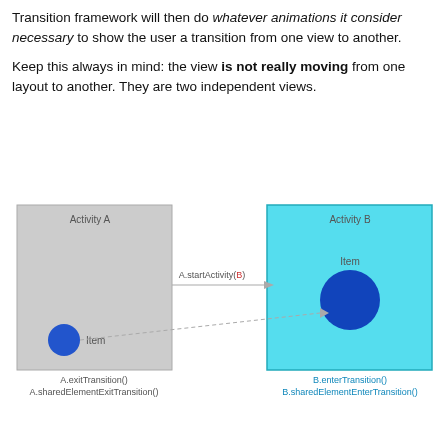Transition framework will then do whatever animations it consider necessary to show the user a transition from one view to another.
Keep this always in mind: the view is not really moving from one layout to another. They are two independent views.
[Figure (engineering-diagram): Diagram showing Activity A (grey box) with a blue circle labeled 'Item' at the bottom left, and Activity B (cyan box) with a larger blue circle labeled 'Item' in the center. A solid arrow labeled 'A.startActivity(B)' goes from Activity A to Activity B. A dashed arrow connects the two Item circles. Below Activity A: 'A.exitTransition()' and 'A.sharedElementExitTransition()'. Below Activity B: 'B.enterTransition()' and 'B.sharedElementEnterTransition()' in blue.]